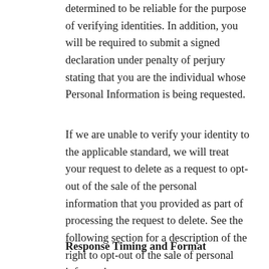determined to be reliable for the purpose of verifying identities. In addition, you will be required to submit a signed declaration under penalty of perjury stating that you are the individual whose Personal Information is being requested.
If we are unable to verify your identity to the applicable standard, we will treat your request to delete as a request to opt-out of the sale of the personal information that you provided as part of processing the request to delete. See the following section for a description of the right to opt-out of the sale of personal information.
Response Timing and Format